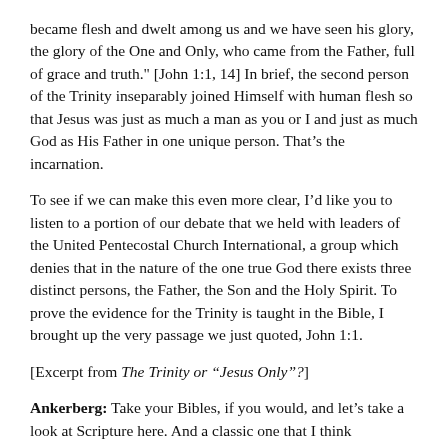became flesh and dwelt among us and we have seen his glory, the glory of the One and Only, who came from the Father, full of grace and truth." [John 1:1, 14] In brief, the second person of the Trinity inseparably joined Himself with human flesh so that Jesus was just as much a man as you or I and just as much God as His Father in one unique person. That's the incarnation.
To see if we can make this even more clear, I'd like you to listen to a portion of our debate that we held with leaders of the United Pentecostal Church International, a group which denies that in the nature of the one true God there exists three distinct persons, the Father, the Son and the Holy Spirit. To prove the evidence for the Trinity is taught in the Bible, I brought up the very passage we just quoted, John 1:1.
[Excerpt from The Trinity or "Jesus Only"?]
Ankerberg: Take your Bibles, if you would, and let's take a look at Scripture here. And a classic one that I think everybody in the audience would expect us to look at is John 1:1-3: "In the beginning was the Word, and the Word was with God, and the Word was God. He was with God in the beginning. All things were made by him; and without him was not anything made that